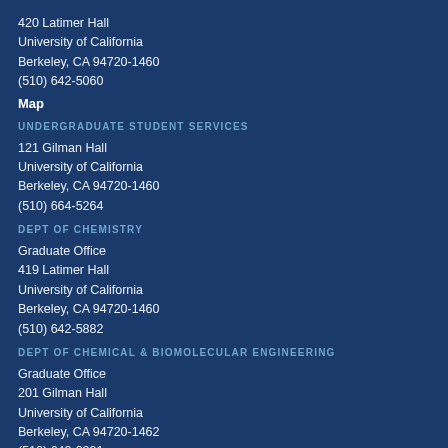420 Latimer Hall
University of California
Berkeley, CA 94720-1460
(510) 642-5060
Map
UNDERGRADUATE STUDENT SERVICES
121 Gilman Hall
University of California
Berkeley, CA 94720-1460
(510) 664-5264
DEPT OF CHEMISTRY
Graduate Office
419 Latimer Hall
University of California
Berkeley, CA 94720-1460
(510) 642-5882
DEPT OF CHEMICAL & BIOMOLECULAR ENGINEERING
Graduate Office
201 Gilman Hall
University of California
Berkeley, CA 94720-1462
(510) 642-2291